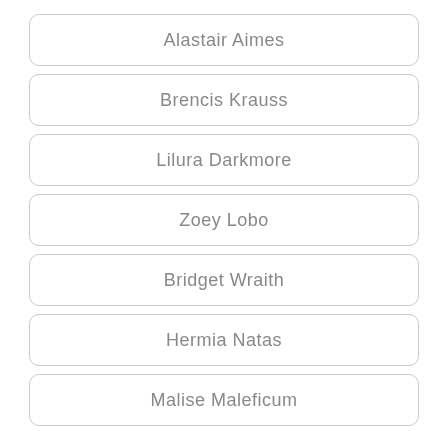Alastair Aimes
Brencis Krauss
Lilura Darkmore
Zoey Lobo
Bridget Wraith
Hermia Natas
Malise Maleficum